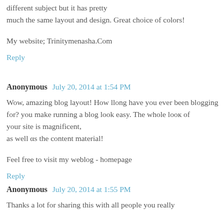different subject but it has pretty much the same layout and design. Great choice of colors!
My website; Trinitymenasha.Com
Reply
Anonymous  July 20, 2014 at 1:54 PM
Wow, amazing blog layout! How llong have you ever been blogging for? you make running a blog look easy. The whole looк of your site is magnificent, as well αs the content material!
Feel free to visit my weblog - homepage
Reply
Anonymous  July 20, 2014 at 1:55 PM
Thanks a lot for sharing this with all people you really